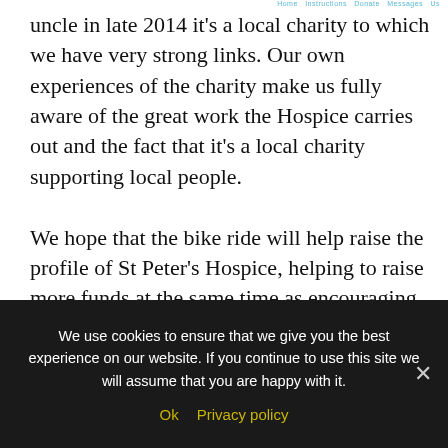Home  Instructions  Donate  Messages  Us
uncle in late 2014 it's a local charity to which we have very strong links. Our own experiences of the charity make us fully aware of the great work the Hospice carries out and the fact that it's a local charity supporting local people.

We hope that the bike ride will help raise the profile of St Peter's Hospice, helping to raise more funds at the same time as encouraging people from across Bristol and the surrounding areas to get involved in the event by getting outside, having some fun and enjoying the great open spaces that our great city
We use cookies to ensure that we give you the best experience on our website. If you continue to use this site we will assume that you are happy with it.
Ok  Privacy policy